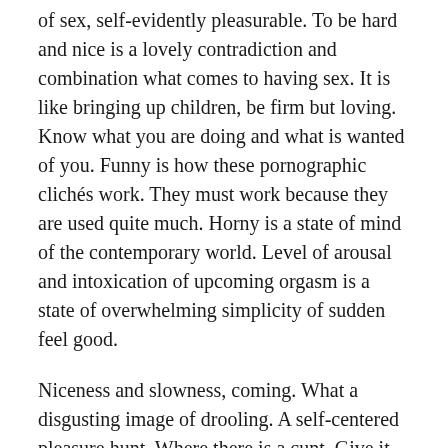of sex, self-evidently pleasurable. To be hard and nice is a lovely contradiction and combination what comes to having sex. It is like bringing up children, be firm but loving. Know what you are doing and what is wanted of you. Funny is how these pornographic clichés work. They must work because they are used quite much. Horny is a state of mind of the contemporary world. Level of arousal and intoxication of upcoming orgasm is a state of overwhelming simplicity of sudden feel good.
Niceness and slowness, coming. What a disgusting image of drooling. A self-centered pleasure hunt. Where there is a cunt. Give it to me. What do I get in return? Is it a give and take? Sexist power play where there is something for oneself only. Good time for me, only, but you must get something out of it too. Yea, sure I want exactly the same thing as you, and I want to give everything to you, because